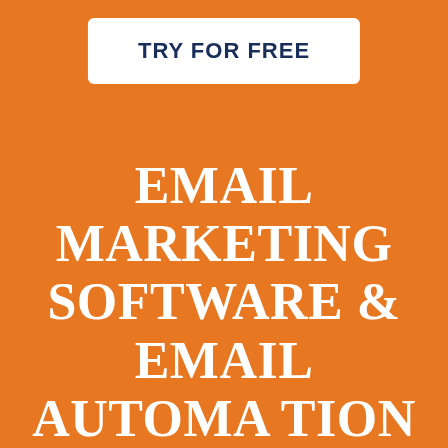TRY FOR FREE
EMAIL MARKETING SOFTWARE & EMAIL AUTOMATION